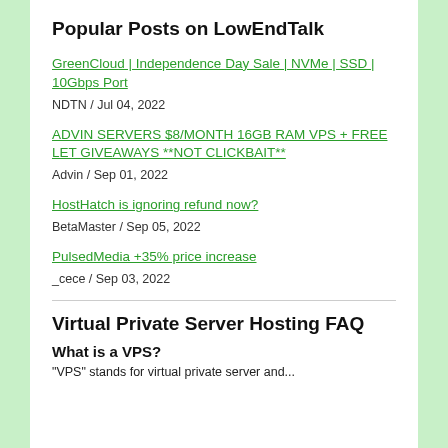Popular Posts on LowEndTalk
GreenCloud | Independence Day Sale | NVMe | SSD | 10Gbps Port
NDTN / Jul 04, 2022
ADVIN SERVERS $8/MONTH 16GB RAM VPS + FREE LET GIVEAWAYS **NOT CLICKBAIT**
Advin / Sep 01, 2022
HostHatch is ignoring refund now?
BetaMaster / Sep 05, 2022
PulsedMedia +35% price increase
_cece / Sep 03, 2022
Virtual Private Server Hosting FAQ
What is a VPS?
"VPS" stands for virtual private server and...